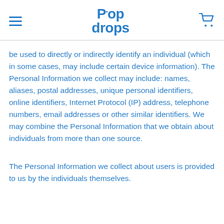Pop drops
be used to directly or indirectly identify an individual (which in some cases, may include certain device information). The Personal Information we collect may include: names, aliases, postal addresses, unique personal identifiers, online identifiers, Internet Protocol (IP) address, telephone numbers, email addresses or other similar identifiers. We may combine the Personal Information that we obtain about individuals from more than one source.
The Personal Information we collect about users is provided to us by the individuals themselves.